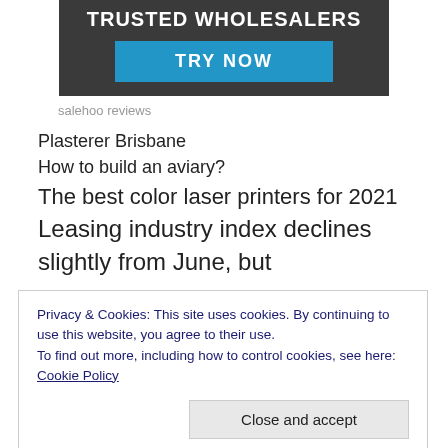[Figure (illustration): Dark grey advertisement banner with 'TRUSTED WHOLESALERS' header text and a blue 'TRY NOW' button]
salehoo reviews
Plasterer Brisbane
How to build an aviary?
The best color laser printers for 2021
Leasing industry index declines slightly from June, but
Privacy & Cookies: This site uses cookies. By continuing to use this website, you agree to their use.
To find out more, including how to control cookies, see here: Cookie Policy
Close and accept
Learn how to use Amazon Echo as a doorbell chime